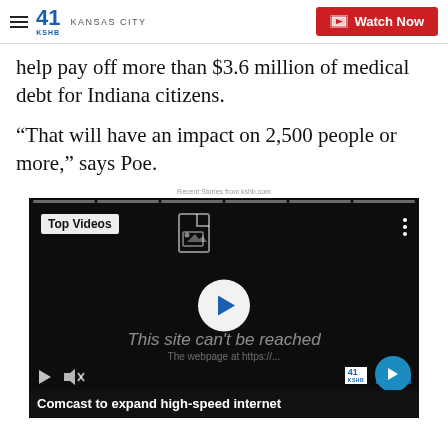41 KSHB KANSAS CITY | Watch Now
help pay off more than $3.6 million of medical debt for Indiana citizens.
“That will have an impact on 2,500 people or more,” says Poe.
Recent Stories from kshb.com
[Figure (screenshot): Embedded video player showing 'Top Videos' label, play button in center, error message 'This site can’t be reached', mute and playback controls, and a bottom ticker reading 'Comcast to expand high-speed internet']